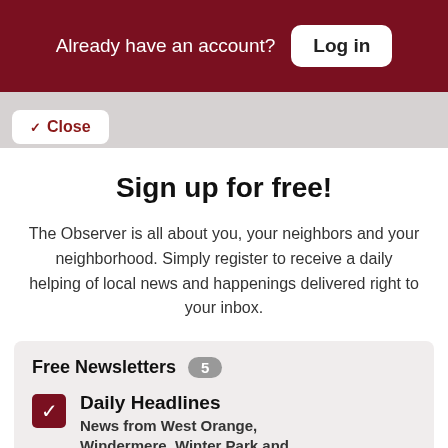Already have an account? Log in
The Observer has invested in new technology, so n enjoy a more personalized online nce. By creating a user profile on
Close
Sign up for free!
The Observer is all about you, your neighbors and your neighborhood. Simply register to receive a daily helping of local news and happenings delivered right to your inbox.
Free Newsletters 5
Daily Headlines
News from West Orange, Windermere, Winter Park and